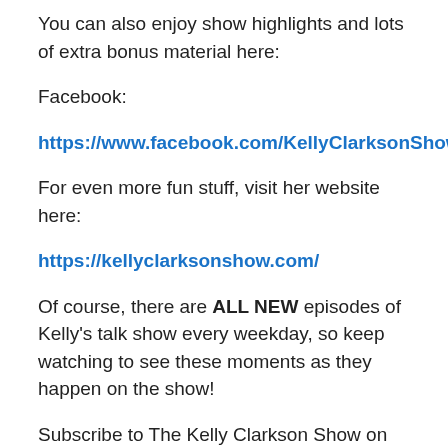You can also enjoy show highlights and lots of extra bonus material here:
Facebook:
https://www.facebook.com/KellyClarksonShow/
For even more fun stuff, visit her website here:
https://kellyclarksonshow.com/
Of course, there are ALL NEW episodes of Kelly's talk show every weekday, so keep watching to see these moments as they happen on the show!
Subscribe to The Kelly Clarkson Show on YouTube for daily videos from the show and behind the scenes bonus material: